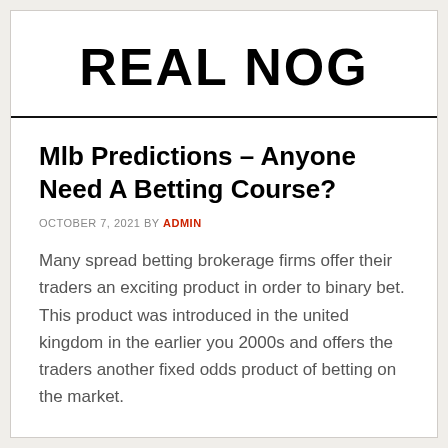REAL NOG
Mlb Predictions – Anyone Need A Betting Course?
OCTOBER 7, 2021 BY ADMIN
Many spread betting brokerage firms offer their traders an exciting product in order to binary bet. This product was introduced in the united kingdom in the earlier you 2000s and offers the traders another fixed odds product of betting on the market.